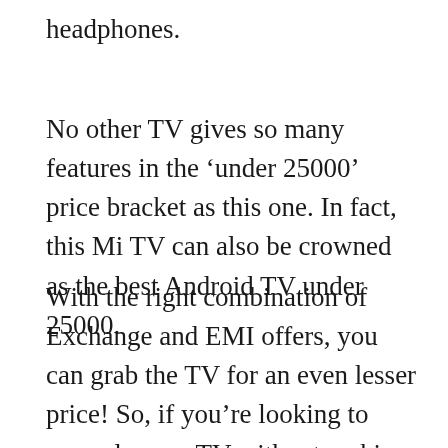headphones.
No other TV gives so many features in the ‘under 25000’ price bracket as this one. In fact, this Mi TV can also be crowned as the best Android TV under 25000.
With the right combination of Exchange and EMI offers, you can grab the TV for an even lesser price! So, if you’re looking to upgrade your TV without making a hefty purchase, then this TV is the perfect for you!